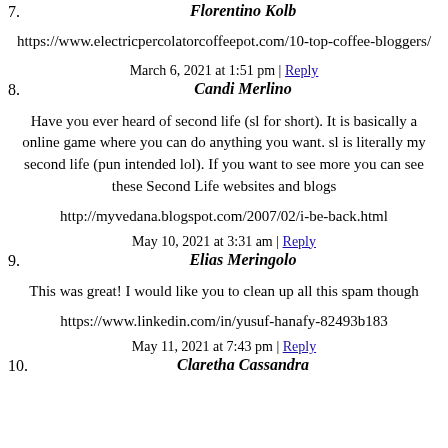7. Florentino Kolb
https://www.electricpercolatorcoffeepot.com/10-top-coffee-bloggers/
March 6, 2021 at 1:51 pm | Reply
8. Candi Merlino
Have you ever heard of second life (sl for short). It is basically a online game where you can do anything you want. sl is literally my second life (pun intended lol). If you want to see more you can see these Second Life websites and blogs
http://myvedana.blogspot.com/2007/02/i-be-back.html
May 10, 2021 at 3:31 am | Reply
9. Elias Meringolo
This was great! I would like you to clean up all this spam though
https://www.linkedin.com/in/yusuf-hanafy-82493b183
May 11, 2021 at 7:43 pm | Reply
10. Claretha Cassandra